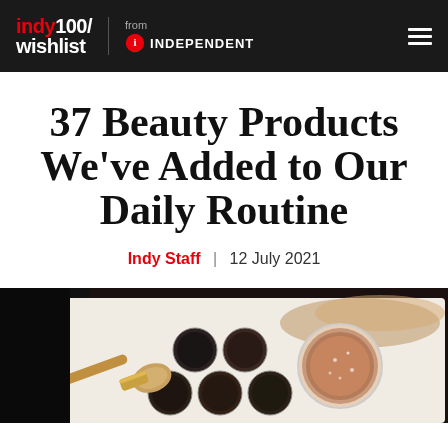indy100/wishlist from INDEPENDENT
37 Beauty Products We've Added to Our Daily Routine
Indy Staff | 12 July 2021
[Figure (photo): Close-up photo of makeup products including an oval foundation brush with gold handle, eyeshadow pan palette with circular pans, and a glass jar of glittery/shimmer product, arranged on a light surface with smudged product]